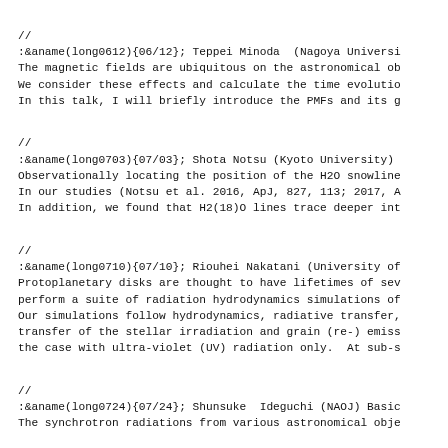//
:&aname(long0612){06/12}; Teppei Minoda  (Nagoya Universi
The magnetic fields are ubiquitous on the astronomical ob
We consider these effects and calculate the time evolutio
In this talk, I will briefly introduce the PMFs and its g
//
:&aname(long0703){07/03}; Shota Notsu (Kyoto University)
Observationally locating the position of the H2O snowline
In our studies (Notsu et al. 2016, ApJ, 827, 113; 2017, A
In addition, we found that H2(18)O lines trace deeper int
//
:&aname(long0710){07/10}; Riouhei Nakatani (University of
Protoplanetary disks are thought to have lifetimes of sev
perform a suite of radiation hydrodynamics simulations of
Our simulations follow hydrodynamics, radiative transfer,
transfer of the stellar irradiation and grain (re-) emiss
the case with ultra-violet (UV) radiation only.  At sub-s
//
:&aname(long0724){07/24}; Shunsuke  Ideguchi (NAOJ) Basic
The synchrotron radiations from various astronomical obje